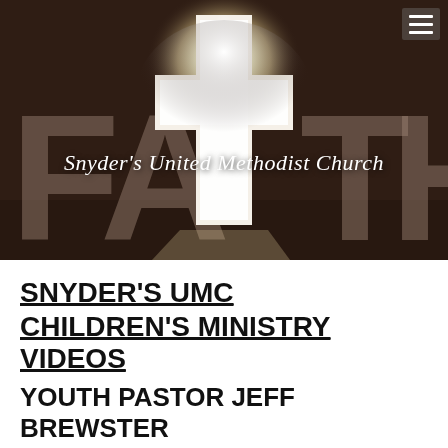[Figure (photo): Hero banner image showing the word FAITH in large letters against a dark brown/sepia background, with a glowing white cross cutout in the center. Text overlay reads Snyder's United Methodist Church in white italic.]
SNYDER'S UMC
CHILDREN'S MINISTRY VIDEOS
YOUTH PASTOR JEFF BREWSTER
* * * * * * * * * * * * * * * * * * * * * * * *